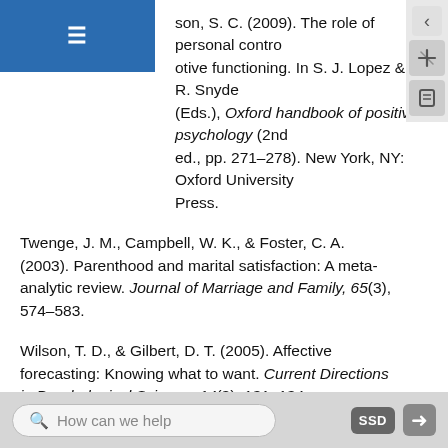son, S. C. (2009). The role of personal control...otive functioning. In S. J. Lopez & C. R. Snyde... (Eds.), Oxford handbook of positive psychology (2nd ed., pp. 271–278). New York, NY: Oxford University Press.
Twenge, J. M., Campbell, W. K., & Foster, C. A. (2003). Parenthood and marital satisfaction: A meta-analytic review. Journal of Marriage and Family, 65(3), 574–583.
Wilson, T. D., & Gilbert, D. T. (2005). Affective forecasting: Knowing what to want. Current Directions in Psychological Science, 14(3), 131–134.
Wilson, T. D., Wheatley, T., Meyers, J. M., Gilbert, D. T., & Axsom, D. (2000). Focalism: A source of...